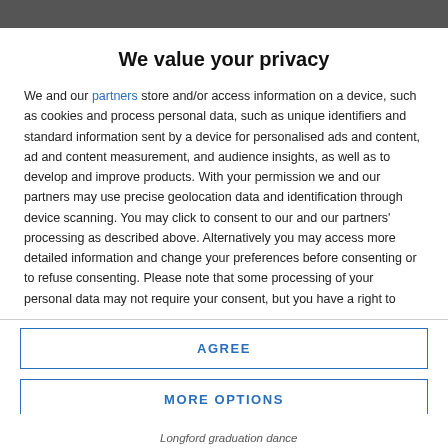We value your privacy
We and our partners store and/or access information on a device, such as cookies and process personal data, such as unique identifiers and standard information sent by a device for personalised ads and content, ad and content measurement, and audience insights, as well as to develop and improve products. With your permission we and our partners may use precise geolocation data and identification through device scanning. You may click to consent to our and our partners' processing as described above. Alternatively you may access more detailed information and change your preferences before consenting or to refuse consenting. Please note that some processing of your personal data may not require your consent, but you have a right to
AGREE
MORE OPTIONS
Longford graduation dance